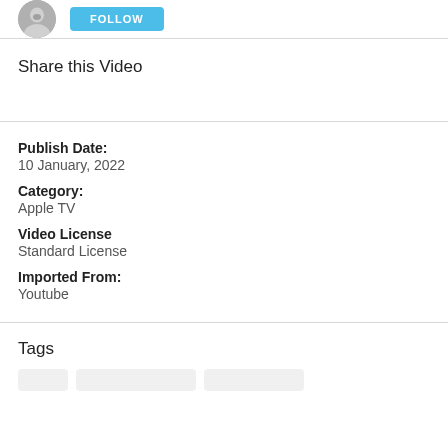[Figure (photo): Circular user avatar photo showing a person, with a blue FOLLOW button to the right]
Share this Video
Publish Date:
10 January, 2022
Category:
Apple TV
Video License
Standard License
Imported From:
Youtube
Tags